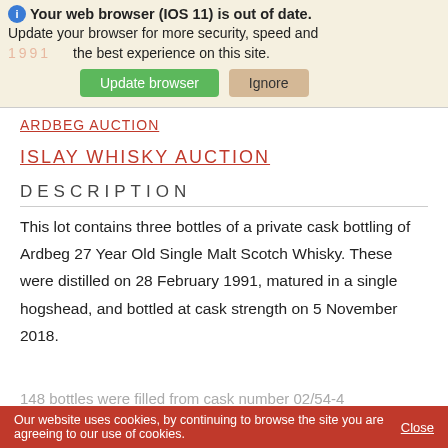Your web browser (iOS 11) is out of date. Update your browser for more security, speed and the best experience on this site.
1991
Update browser | Ignore
ARDBEG AUCTION
ISLAY WHISKY AUCTION
DESCRIPTION
This lot contains three bottles of a private cask bottling of Ardbeg 27 Year Old Single Malt Scotch Whisky. These were distilled on 28 February 1991, matured in a single hogshead, and bottled at cask strength on 5 November 2018.
148 bottles were filled from cask number 02/54-4
Our website uses cookies, by continuing to browse the site you are agreeing to our use of cookies.